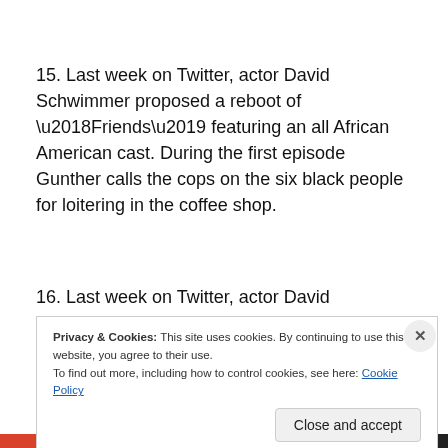15. Last week on Twitter, actor David Schwimmer proposed a reboot of ‘Friends’ featuring an all African American cast. During the first episode Gunther calls the cops on the six black people for loitering in the coffee shop.
16. Last week on Twitter, actor David Schwimmer proposed a reboot of ‘Friends’ featuring an all African...
Privacy & Cookies: This site uses cookies. By continuing to use this website, you agree to their use. To find out more, including how to control cookies, see here: Cookie Policy